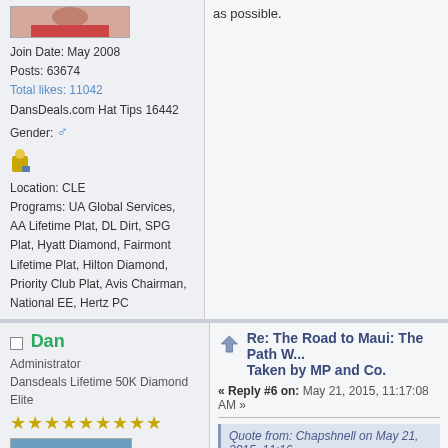Join Date: May 2008
Posts: 63674
Total likes: 11042
DansDeals.com Hat Tips 16442
Gender: ♂
Location: CLE
Programs: UA Global Services, AA Lifetime Plat, DL Dirt, SPG Plat, Hyatt Diamond, Fairmont Lifetime Plat, Hilton Diamond, Priority Club Plat, Avis Chairman, National EE, Hertz PC
as possible.
Dan
Administrator
Dansdeals Lifetime 50K Diamond Elite
[Figure (photo): Family photo on beach]
Re: The Road to Maui: The Path W... Taken by MP and Co.
« Reply #6 on: May 21, 2015, 11:17:08 AM »
Quote from: Chapshnell on May 21, 2015, 11:16...
Why didnt you give the check in desk both of yo...
AA and UA won't check bags to airlines ne... UA elites may still be able to.
Join Date: May 2008